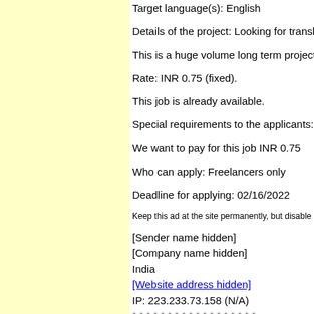Target language(s): English
Details of the project: Looking for translat…
This is a huge volume long term project.
Rate: INR 0.75 (fixed).
This job is already available.
Special requirements to the applicants: G…
We want to pay for this job INR 0.75
Who can apply: Freelancers only
Deadline for applying: 02/16/2022
Keep this ad at the site permanently, but disable appl…
[Sender name hidden]
[Company name hidden]
India
[Website address hidden]
IP: 223.233.73.158 (N/A)
* * * * * * * * * * * * * * * * * *
Posted on Wednesday, 09 Feb 2022, 12:…